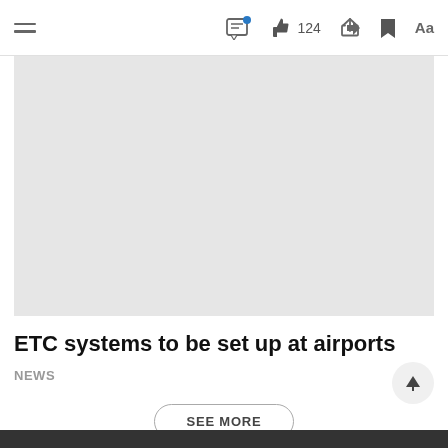≡  💬 124  ↪  🔖  Aa
[Figure (photo): Light grey placeholder image area for an article photo]
ETC systems to be set up at airports
NEWS
SEE MORE